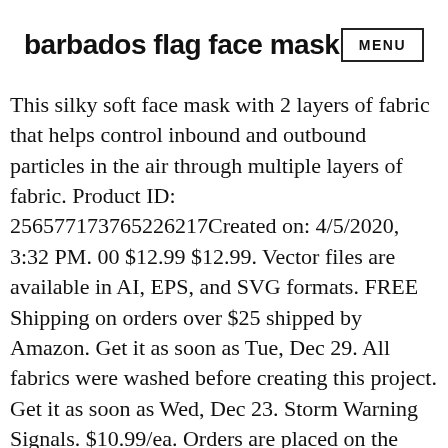barbados flag face mask
This silky soft face mask with 2 layers of fabric that helps control inbound and outbound particles in the air through multiple layers of fabric. Product ID: 256577173765226217Created on: 4/5/2020, 3:32 PM. 00 $12.99 $12.99. Vector files are available in AI, EPS, and SVG formats. FREE Shipping on orders over $25 shipped by Amazon. Get it as soon as Tue, Dec 29. All fabrics were washed before creating this project. Get it as soon as Wed, Dec 23. Storm Warning Signals. $10.99/ea. Orders are placed on the Red Bubble website. Buy 2. Barbados Flag Influenced face mask. Barbados Flag